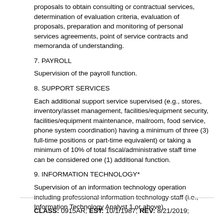proposals to obtain consulting or contractual services, determination of evaluation criteria, evaluation of proposals, preparation and monitoring of personal services agreements, point of service contracts and memoranda of understanding.
7. PAYROLL
Supervision of the payroll function.
8. SUPPORT SERVICES
Each additional support service supervised (e.g., stores, inventory/asset management, facilities/equipment security, facilities/equipment maintenance, mailroom, food service, phone system coordination) having a minimum of three (3) full-time positions or part-time equivalent) or taking a minimum of 10% of total fiscal/administrative staff time can be considered one (1) additional function.
9. INFORMATION TECHNOLOGY*
Supervision of an information technology operation including professional information technology staff (i.e., Information Technology Analyst 1 or above).
CLASS: 0915AR; EST: 10/1/1987; REV: 8/21/2019;